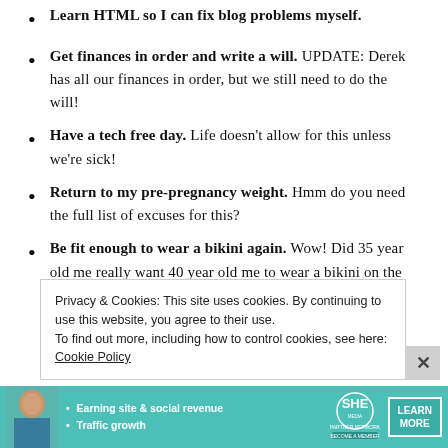Learn HTML so I can fix blog problems myself.
Get finances in order and write a will. UPDATE: Derek has all our finances in order, but we still need to do the will!
Have a tech free day. Life doesn't allow for this unless we're sick!
Return to my pre-pregnancy weight. Hmm do you need the full list of excuses for this?
Be fit enough to wear a bikini again. Wow! Did 35 year old me really want 40 year old me to wear a bikini on the beach? haha. Safe to say that even if I
Privacy & Cookies: This site uses cookies. By continuing to use this website, you agree to their use.
To find out more, including how to control cookies, see here: Cookie Policy
[Figure (infographic): Advertisement banner for SHE Media Partner Network with woman photo, bullet points about earning site & social revenue and traffic growth, SHE logo, and LEARN MORE button with BECOME A MEMBER label]